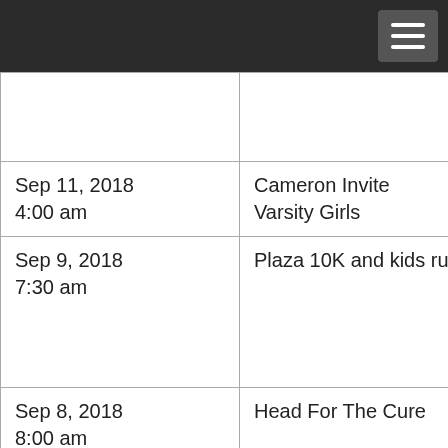|  |  |
| Sep 11, 2018
4:00 am | Cameron Invite
Varsity Girls |
| Sep 9, 2018
7:30 am | Plaza 10K and kids run |
| Sep 8, 2018
8:00 am | Head For The Cure |
| Sep 8, 2018
8:00 am | Ray Pec Invite
C Team Girls |
| Sep 8, 2018 | Ray Pec Invite |